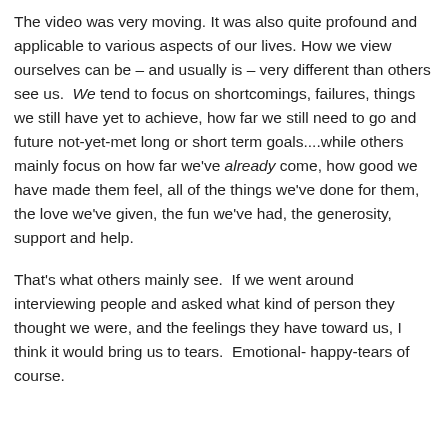The video was very moving. It was also quite profound and applicable to various aspects of our lives. How we view ourselves can be – and usually is – very different than others see us. We tend to focus on shortcomings, failures, things we still have yet to achieve, how far we still need to go and future not-yet-met long or short term goals....while others mainly focus on how far we've already come, how good we have made them feel, all of the things we've done for them, the love we've given, the fun we've had, the generosity, support and help.
That's what others mainly see. If we went around interviewing people and asked what kind of person they thought we were, and the feelings they have toward us, I think it would bring us to tears. Emotional- happy-tears of course.